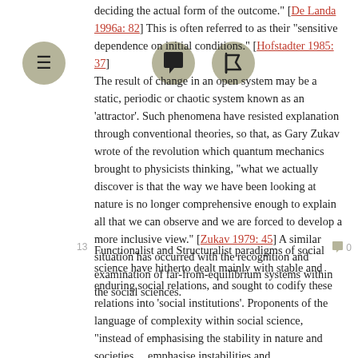deciding the actual form of the outcome." [De Landa 1996a: 82] This is often referred to as their "sensitive dependence on initial conditions." [Hofstadter 1985: 37] The result of change in an open system may be a static, periodic or chaotic system known as an ‘attractor’. Such phenomena have resisted explanation through conventional theories, so that, as Gary Zukav wrote of the revolution which quantum mechanics brought to physicists thinking, “what we actually discover is that the way we have been looking at nature is no longer comprehensive enough to explain all that we can observe and we are forced to develop a more inclusive view.” [Zukav 1979: 45] A similar situation has occurred with the recognition and examination of far-from-equilibrium systems within the social sciences.
Functionalist and Structuralist paradigms of social science have hitherto dealt mainly with stable and enduring social relations, and sought to codify these relations into ‘social institutions’. Proponents of the language of complexity within social science, “instead of emphasising the stability in nature and societies… emphasise instabilities and